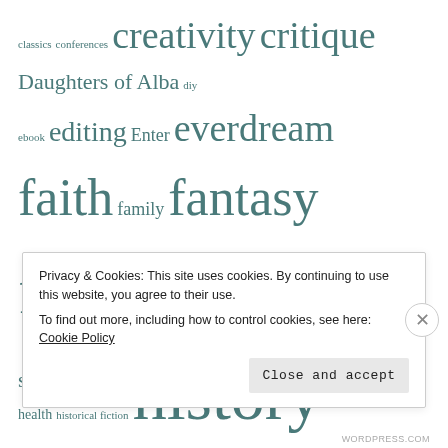[Figure (other): Tag cloud of blog/writing-related keywords in varying font sizes and teal/gray colors, including words like creativity, critique, Daughters of Alba, diy, ebook, editing, Enter, everdream, faith, family, fantasy, fiction, fitness, Florence, Gaelic, goals, health, historical fiction, history, hold fast, hubris, inspiration, introvert, Legacy of Faith, life, love, minecraft, motivation, music, nanowrimo, novel, novella, organization, otherworld, parenting, plot, poetry, productivity, reading, regency, research, review, reviews, Sensible Advice, setting, short story, Slumber, Sons of Alba, suspense, time, work in progress]
Privacy & Cookies: This site uses cookies. By continuing to use this website, you agree to their use. To find out more, including how to control cookies, see here: Cookie Policy
Close and accept
WORDPRESS.COM